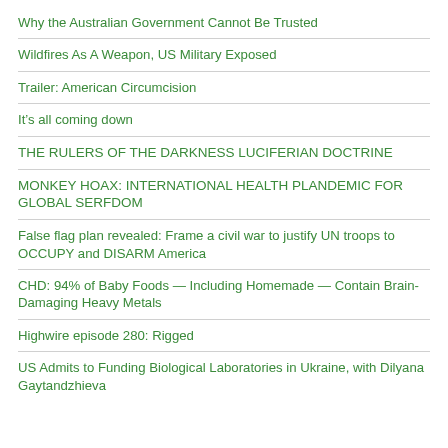Why the Australian Government Cannot Be Trusted
Wildfires As A Weapon, US Military Exposed
Trailer: American Circumcision
It’s all coming down
THE RULERS OF THE DARKNESS LUCIFERIAN DOCTRINE
MONKEY HOAX: INTERNATIONAL HEALTH PLANDEMIC FOR GLOBAL SERFDOM
False flag plan revealed: Frame a civil war to justify UN troops to OCCUPY and DISARM America
CHD: 94% of Baby Foods — Including Homemade — Contain Brain-Damaging Heavy Metals
Highwire episode 280: Rigged
US Admits to Funding Biological Laboratories in Ukraine, with Dilyana Gaytandzhieva